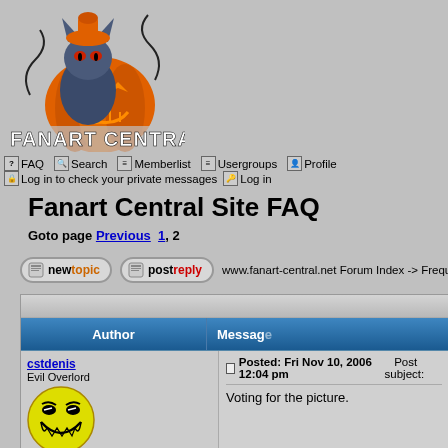[Figure (logo): Fanart Central Halloween logo featuring a cartoon cat in a jack-o-lantern with spooky text 'FANART CENTRAL']
FAQ  Search  Memberlist  Usergroups  Profile  Log in to check your private messages  Log in
Fanart Central Site FAQ
Goto page Previous  1, 2
[Figure (screenshot): New topic and Post reply buttons, breadcrumb: www.fanart-central.net Forum Index -> Frequently]
| Author | Message |
| --- | --- |
| cstdenis
Evil Overlord
[avatar: evil smiley face]
Joined: 21 Dec 1969 | Posted: Fri Nov 10, 2006 12:04 pm    Post subject:
Voting for the picture. |